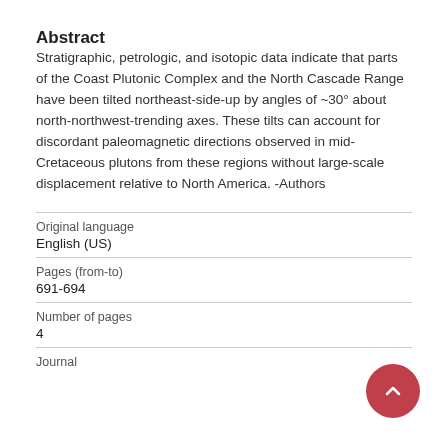Abstract
Stratigraphic, petrologic, and isotopic data indicate that parts of the Coast Plutonic Complex and the North Cascade Range have been tilted northeast-side-up by angles of ~30° about north-northwest-trending axes. These tilts can account for discordant paleomagnetic directions observed in mid-Cretaceous plutons from these regions without large-scale displacement relative to North America. -Authors
| Original language |  |
| English (US) |  |
| Pages (from-to) |  |
| 691-694 |  |
| Number of pages |  |
| 4 |  |
| Journal |  |